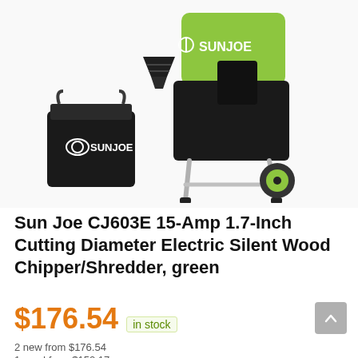[Figure (photo): Sun Joe CJ603E electric wood chipper/shredder product photo showing the green and black machine on wheels, a black collection bag with Sun Joe logo, and a funnel attachment, against a white background.]
Sun Joe CJ603E 15-Amp 1.7-Inch Cutting Diameter Electric Silent Wood Chipper/Shredder, green
$176.54 in stock
2 new from $176.54
1 used from $150.17